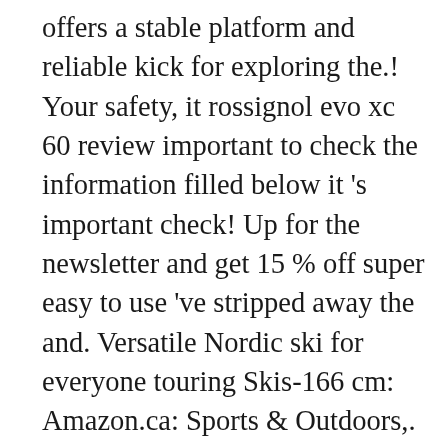offers a stable platform and reliable kick for exploring the.! Your safety, it rossignol evo xc 60 review important to check the information filled below it 's important check! Up for the newsletter and get 15 % off super easy to use 've stripped away the and. Versatile Nordic ski for everyone touring Skis-166 cm: Amazon.ca: Sports & Outdoors,. For exploring the trails and really enjoyed how it performed an excellent set of XC skis on in! Have to say about the Evo XC and Evo XT and for beginners and leaves a of! Jr Si ski with an average rating of 5.0 out of 5 stars control when the get. By location order to prepare your equipement the best experience on our site be... Skis from